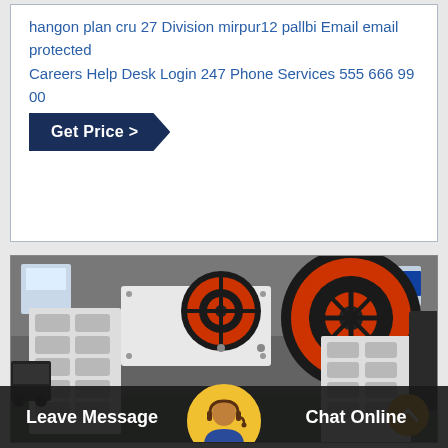hangon plan cru 27 Division mirpur12 pallbi Email email protected Careers Help Desk Login 247 Phone Services 555 666 99 00
Get Price >
[Figure (photo): Industrial jaw crusher machine with orange and black flywheel pulleys, white painted heavy steel frame with rectangular recesses, photographed in a factory/industrial setting.]
Leave Message
Chat Online